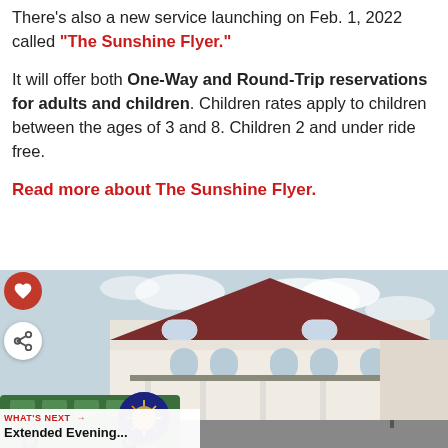There's also a new service launching on Feb. 1, 2022 called "The Sunshine Flyer."
It will offer both One-Way and Round-Trip reservations for adults and children. Children rates apply to children between the ages of 3 and 8. Children 2 and under ride free.
Read more about The Sunshine Flyer.
[Figure (photo): Photo of a white Victorian-style building with a dark red roof, arched windows, and a green bus/train in the foreground. A lamp post is visible on the right side.]